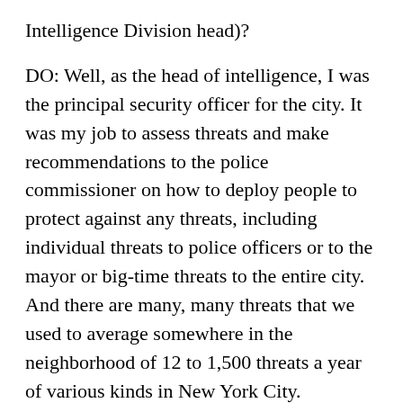Intelligence Division head)?
DO: Well, as the head of intelligence, I was the principal security officer for the city. It was my job to assess threats and make recommendations to the police commissioner on how to deploy people to protect against any threats, including individual threats to police officers or to the mayor or big-time threats to the entire city. And there are many, many threats that we used to average somewhere in the neighborhood of 12 to 1,500 threats a year of various kinds in New York City.
And I was the person who had to assess all of